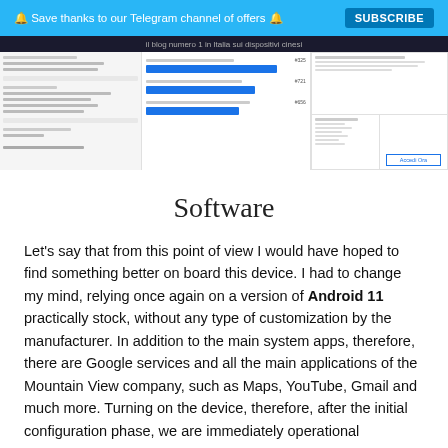🔔 Save thanks to our Telegram channel of offers 🔔  SUBSCRIBE
il blog numero 1 in Italia sui dispositivi cinesi
[Figure (screenshot): Screenshot strip showing device benchmark and settings screens with blue bar charts and an 'Accedi Ora' button]
Software
Let's say that from this point of view I would have hoped to find something better on board this device. I had to change my mind, relying once again on a version of Android 11 practically stock, without any type of customization by the manufacturer. In addition to the main system apps, therefore, there are Google services and all the main applications of the Mountain View company, such as Maps, YouTube, Gmail and much more. Turning on the device, therefore, after the initial configuration phase, we are immediately operational